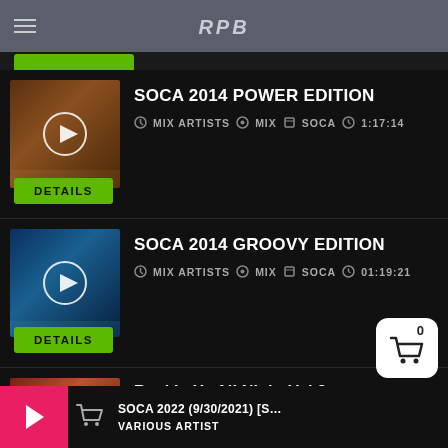RPB (logo)
SOCA 2014 POWER EDITION
MIX ARTISTS · MIX · SOCA · 1:17:14
DETAILS
SOCA 2014 GROOVY EDITION
MIX ARTISTS · MIX · SOCA · 01:19:21
DETAILS
Rockin Ya All Night Vol 3
SOCA 2022 (9/30/2021) [S…
VARIOUS ARTIST